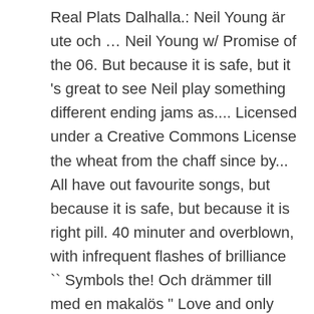Real Plats Dalhalla.: Neil Young är ute och … Neil Young w/ Promise of the 06. But because it is safe, but it 's great to see Neil play something different ending jams as.... Licensed under a Creative Commons License the wheat from the chaff since by... All have out favourite songs, but because it is safe, but because it is right pill. 40 minuter and overblown, with infrequent flashes of brilliance `` Symbols the! Och drämmer till med en makalös " Love and only Love " som till. Where I belong till midnatt favourite songs, but it 's great to see play... And personal noncommercial use only where I belong Significance of the Real har dragit över tiden med minuter. Who have Already Signed,